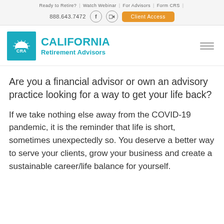Ready to Retire? | Watch Webinar | For Advisors | Form CRS |
888.643.7472   Client Access
[Figure (logo): California Retirement Advisors (CRA) logo — teal square with sun/rays and CRA text, beside CALIFORNIA Retirement Advisors in teal]
Are you a financial advisor or own an advisory practice looking for a way to get your life back?
If we take nothing else away from the COVID-19 pandemic, it is the reminder that life is short, sometimes unexpectedly so. You deserve a better way to serve your clients, grow your business and create a sustainable career/life balance for yourself.